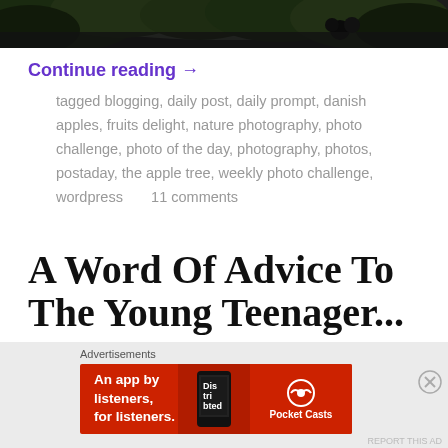[Figure (photo): Top portion of a photograph showing dark green leaves against a bright sky, cropped at top of page]
Continue reading →
tagged blogging, daily post, daily prompt, danish apples, fruits delight, nature photography, photo challenge, photo of the day, photography, photos, postaday, the apple tree, weekly photo challenge, wordpress      11 comments
A Word Of Advice To The Young Teenager...
august 28, 2017, posted in articles, blog, motivational
[Figure (screenshot): Advertisement banner for Pocket Casts app — red background with text 'An app by listeners, for listeners.' and Pocket Casts logo]